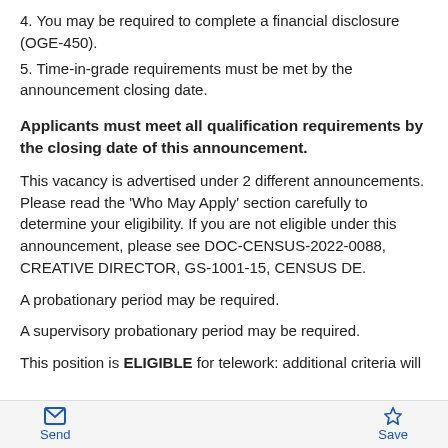4. You may be required to complete a financial disclosure (OGE-450).
5. Time-in-grade requirements must be met by the announcement closing date.
Applicants must meet all qualification requirements by the closing date of this announcement.
This vacancy is advertised under 2 different announcements. Please read the 'Who May Apply' section carefully to determine your eligibility. If you are not eligible under this announcement, please see DOC-CENSUS-2022-0088, CREATIVE DIRECTOR, GS-1001-15, CENSUS DE.
A probationary period may be required.
A supervisory probationary period may be required.
This position is ELIGIBLE for telework: additional criteria will
Send   Save